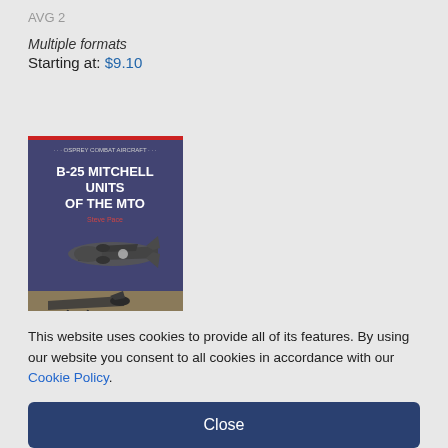AVG 2
Multiple formats
Starting at: $9.10
More info
[Figure (photo): Book cover for 'B-25 Mitchell Units of the MTO' showing B-25 Mitchell bombers in flight and on the ground against a blue sky background.]
This website uses cookies to provide all of its features. By using our website you consent to all cookies in accordance with our Cookie Policy.
Close